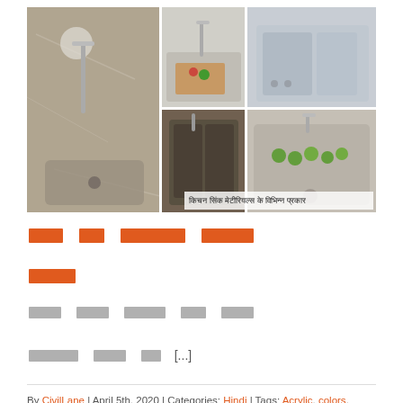[Figure (photo): Collage of kitchen sink images showing various materials and styles, with Hindi caption text overlay reading 'किचन सिंक मेटीरियल्स के विभिन्न प्रकार']
[Hindi redacted title - kitchen sink materials various types]
[Hindi redacted excerpt text] [...]
By CivilLane | April 5th, 2020 | Categories: Hindi | Tags: Acrylic, colors, corner sink, Countertop, double bowl, double bowl with drainboard, Fridge,